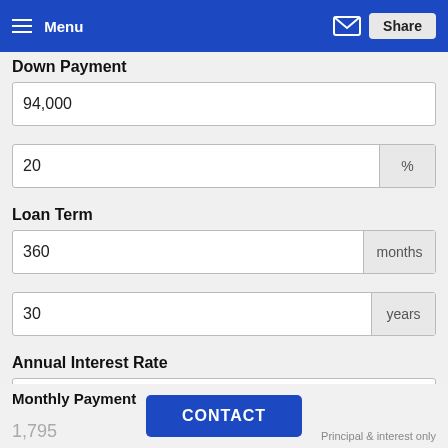Menu | Share
Down Payment
94,000
20 %
Loan Term
360 months
30 years
Annual Interest Rate
4.0
Monthly Payment
1,795
Principal & interest only